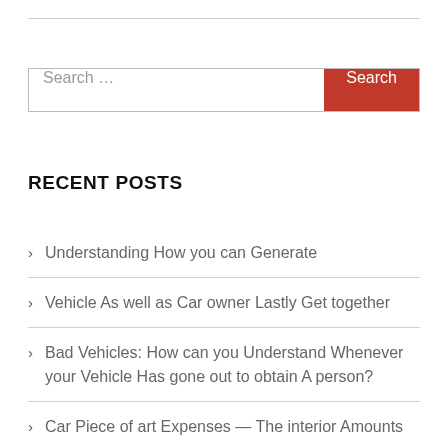[Figure (screenshot): Search bar with text input placeholder 'Search ...' and a red 'Search' button]
RECENT POSTS
Understanding How you can Generate
Vehicle As well as Car owner Lastly Get together
Bad Vehicles: How can you Understand Whenever your Vehicle Has gone out to obtain A person?
Car Piece of art Expenses — The interior Amounts